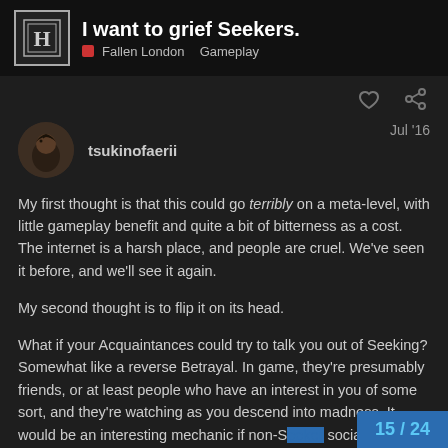I want to grief Seekers. — Fallen London › Gameplay
tsukinofaerii — Jul '16
My first thought is that this could go terribly on a meta-level, with little gameplay benefit and quite a bit of bitterness as a cost. The internet is a harsh place, and people are cruel. We've seen it before, and we'll see it again.

My second thought is to flip it on its head.

What if your Acquaintances could try to talk you out of Seeking? Somewhat like a reverse Betrayal. In game, they're presumably friends, or at least people who have an interest in you of some sort, and they're watching as you descend into madness. It would be an interesting mechanic if non-S... social actions that reduced SMEN based o...
15 / 24